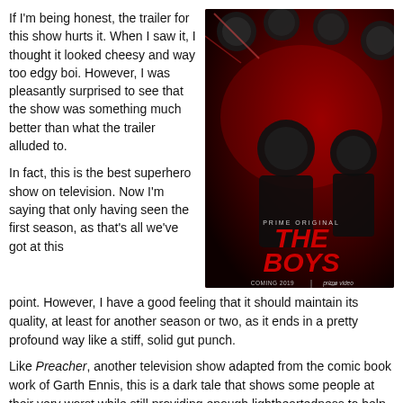If I'm being honest, the trailer for this show hurts it. When I saw it, I thought it looked cheesy and way too edgy boi. However, I was pleasantly surprised to see that the show was something much better than what the trailer alluded to.
[Figure (photo): Promotional poster for 'The Boys' on Amazon Prime Video. Shows several characters looking upward against a dark red/crimson background. Text reads 'PRIME ORIGINAL', 'THE BOYS', 'COMING 2019 | prime video'.]
In fact, this is the best superhero show on television. Now I'm saying that only having seen the first season, as that's all we've got at this point. However, I have a good feeling that it should maintain its quality, at least for another season or two, as it ends in a pretty profound way like a stiff, solid gut punch.
Like Preacher, another television show adapted from the comic book work of Garth Ennis, this is a dark tale that shows some people at their very worst while still providing enough lightheartedness to help take the edge off.